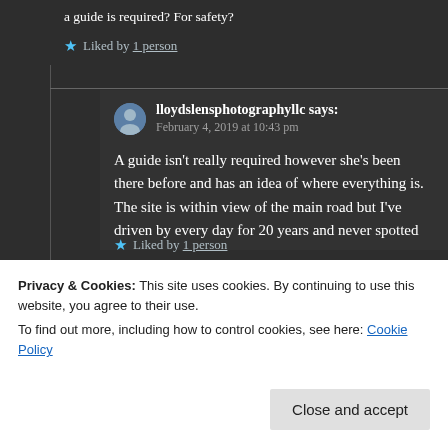a guide is required? For safety?
Liked by 1 person
lloydslensphotographyllc says:
February 4, 2019 at 10:43 pm
A guide isn't really required however she's been there before and has an idea of where everything is. The site is within view of the main road but I've driven by every day for 20 years and never spotted
Privacy & Cookies: This site uses cookies. By continuing to use this website, you agree to their use.
To find out more, including how to control cookies, see here: Cookie Policy
Close and accept
Liked by 1 person